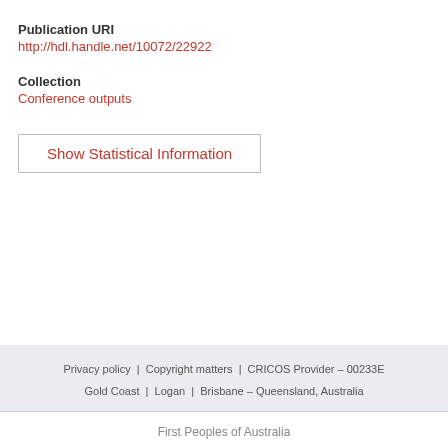Publication URI
http://hdl.handle.net/10072/22922
Collection
Conference outputs
Show Statistical Information
Privacy policy | Copyright matters | CRICOS Provider – 00233E
Gold Coast | Logan | Brisbane – Queensland, Australia
First Peoples of Australia